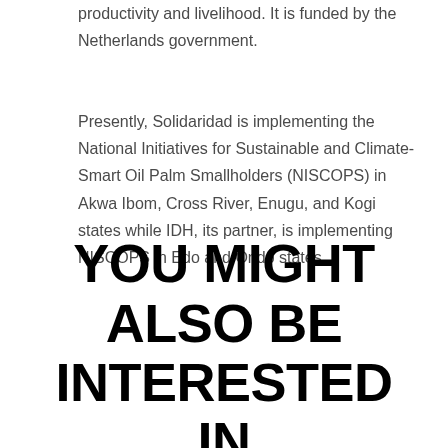productivity and livelihood. It is funded by the Netherlands government.
Presently, Solidaridad is implementing the National Initiatives for Sustainable and Climate-Smart Oil Palm Smallholders (NISCOPS) in Akwa Ibom, Cross River, Enugu, and Kogi states while IDH, its partner, is implementing NISCOPS in Edo and Ondo states.
YOU MIGHT ALSO BE INTERESTED IN